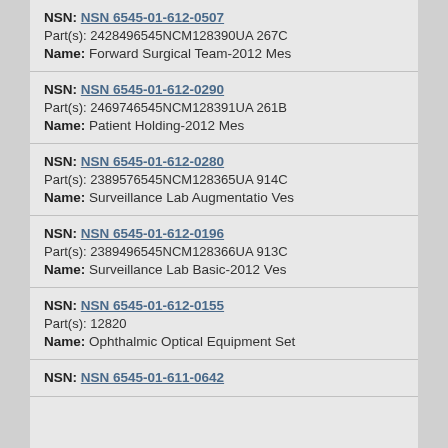NSN: NSN 6545-01-612-0507
Part(s): 2428496545NCM128390UA 267C
Name: Forward Surgical Team-2012 Mes
NSN: NSN 6545-01-612-0290
Part(s): 2469746545NCM128391UA 261B
Name: Patient Holding-2012 Mes
NSN: NSN 6545-01-612-0280
Part(s): 2389576545NCM128365UA 914C
Name: Surveillance Lab Augmentatio Ves
NSN: NSN 6545-01-612-0196
Part(s): 2389496545NCM128366UA 913C
Name: Surveillance Lab Basic-2012 Ves
NSN: NSN 6545-01-612-0155
Part(s): 12820
Name: Ophthalmic Optical Equipment Set
NSN: NSN 6545-01-611-0642 (partial)